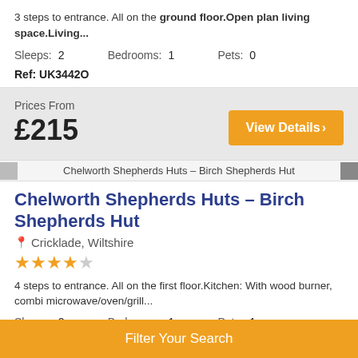3 steps to entrance. All on the ground floor.Open plan living space.Living...
Sleeps: 2   Bedrooms: 1   Pets: 0
Ref: UK3442O
Prices From £215
View Details
Chelworth Shepherds Huts - Birch Shepherds Hut
Chelworth Shepherds Huts - Birch Shepherds Hut
Cricklade, Wiltshire
4 steps to entrance. All on the first floor.Kitchen: With wood burner, combi microwave/oven/grill...
Sleeps: 2   Bedrooms: 1   Pets: 1
Filter Your Search